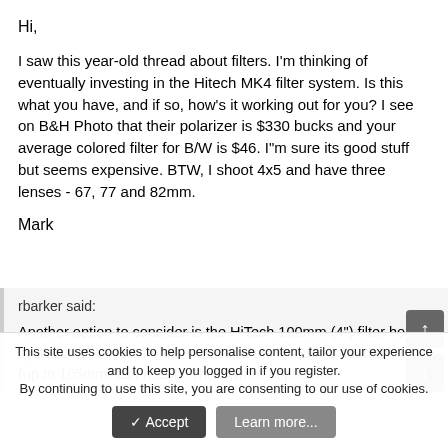Hi,
I saw this year-old thread about filters. I'm thinking of eventually investing in the Hitech MK4 filter system. Is this what you have, and if so, how's it working out for you? I see on B&H Photo that their polarizer is $330 bucks and your average colored filter for B/W is $46. I"m sure its good stuff but seems expensive. BTW, I shoot 4x5 and have three lenses - 67, 77 and 82mm.
Mark
rbarker said:
Another option to consider is the HiTech 100mm (4") filter holder system that uses a holder with separate threaded adapter rings (up to 105mm, as I recall). That's what I opted for
This site uses cookies to help personalise content, tailor your experience and to keep you logged in if you register.
By continuing to use this site, you are consenting to our use of cookies.